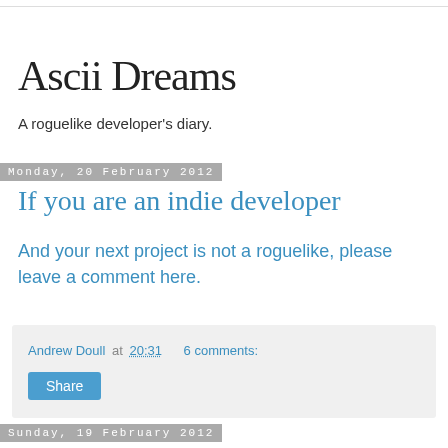Ascii Dreams
A roguelike developer's diary.
Monday, 20 February 2012
If you are an indie developer
And your next project is not a roguelike, please leave a comment here.
Andrew Doull at 20:31   6 comments:
Share
Sunday, 19 February 2012